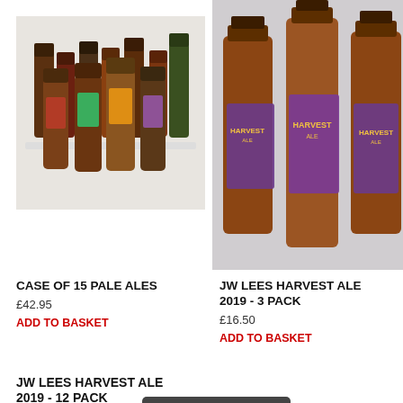[Figure (photo): A collection of 15 pale ale beer bottles arranged on a white wooden surface]
[Figure (photo): Three JW Lees Harvest Ale 2019 bottles with purple labels arranged on a grey background]
CASE OF 15 PALE ALES
£42.95
ADD TO BASKET
JW LEES HARVEST ALE 2019 - 3 PACK
£16.50
ADD TO BASKET
JW LEES HARVEST ALE 2019 - 12 PACK
£39.50
feefo Reviews